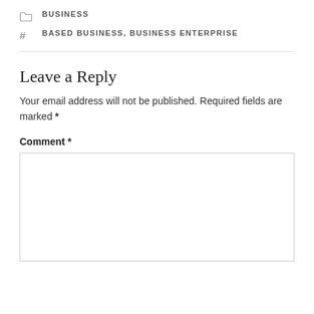BUSINESS
BASED BUSINESS, BUSINESS ENTERPRISE
Leave a Reply
Your email address will not be published. Required fields are marked *
Comment *